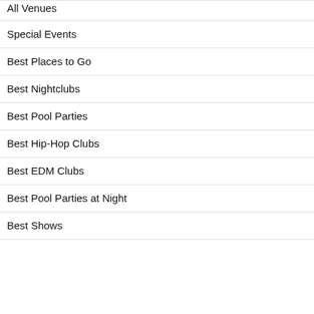All Venues
Special Events
Best Places to Go
Best Nightclubs
Best Pool Parties
Best Hip-Hop Clubs
Best EDM Clubs
Best Pool Parties at Night
Best Shows